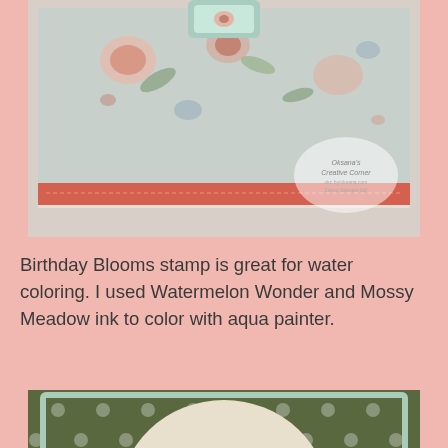[Figure (photo): Top photo showing a handmade card with floral patterned paper (flowers in pink, blue, green on light background) with coral/red accent strip, featuring a stamped image and decorative elements. Oksana's Creative Corner watermark visible.]
Birthday Blooms stamp is great for water coloring. I used Watermelon Wonder and Mossy Meadow ink to color with aqua painter.
[Figure (photo): Bottom photo showing a handmade treat bag topper/card with dark olive green polka dot patterned background, a circular cream mat with watercolored Birthday Blooms flowers (coral/red rose with green leaves), 'for you' sentiment, and clear bags of dark chocolates below. Oksana's Creative Corner watermark visible.]